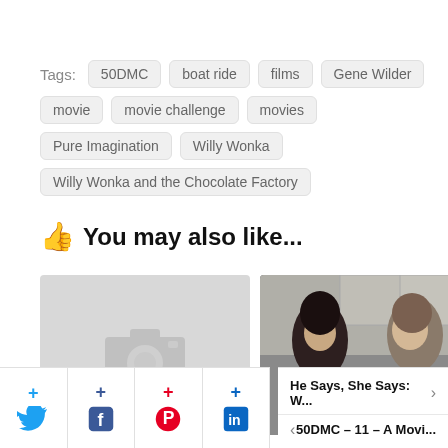Tags: 50DMC  boat ride  films  Gene Wilder  movie  movie challenge  movies  Pure Imagination  Willy Wonka  Willy Wonka and the Chocolate Factory
You may also like...
[Figure (photo): Placeholder image with camera icon on grey background]
[Figure (photo): Two people facing each other in a kitchen scene]
He Says, She Says: W...
50DMC – 11 – A Movi...
[Figure (infographic): Social share buttons: Twitter, Facebook, Pinterest, LinkedIn]